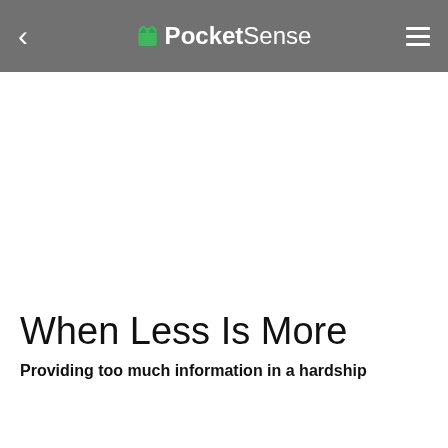PocketSense
When Less Is More
Providing too much information in a hardship